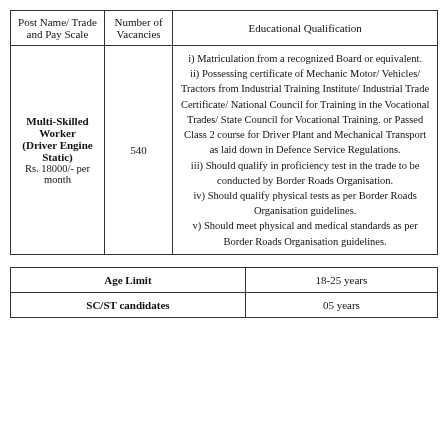| Post Name/ Trade and Pay Scale | Number of Vacancies | Educational Qualification |
| --- | --- | --- |
| Multi-Skilled Worker (Driver Engine Static)
Rs. 18000/- per month | 540 | i) Matriculation from a recognized Board or equivalent.
ii) Possessing certificate of Mechanic Motor/ Vehicles/ Tractors from Industrial Training Institute/ Industrial Trade Certificate/ National Council for Training in the Vocational Trades/ State Council for Vocational Training. or Passed Class 2 course for Driver Plant and Mechanical Transport as laid down in Defence Service Regulations.
iii) Should qualify in proficiency test in the trade to be conducted by Border Roads Organisation.
iv) Should qualify physical tests as per Border Roads Organisation guidelines.
v) Should meet physical and medical standards as per Border Roads Organisation guidelines. |
| Age Limit | 18-25 years |
| --- | --- |
| SC/ST candidates | 05 years |